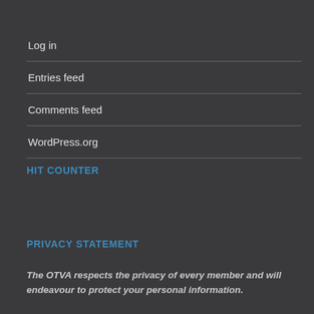Log in
Entries feed
Comments feed
WordPress.org
HIT COUNTER
PRIVACY STATEMENT
The OTVA respects the privacy of every member and will endeavour to protect your personal information.